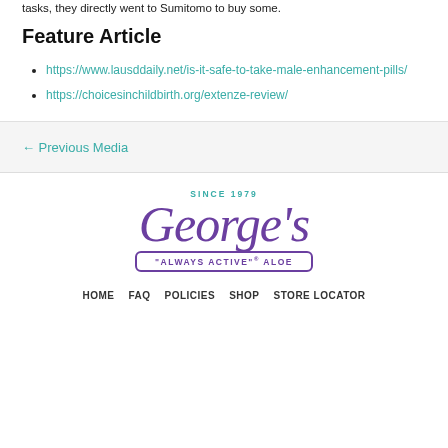tasks, they directly went to Sumitomo to buy some.
Feature Article
https://www.lausddaily.net/is-it-safe-to-take-male-enhancement-pills/
https://choicesinchildbirth.org/extenze-review/
← Previous Media
[Figure (logo): George's Aloe logo — cursive George's in purple with 'SINCE 1979' above and 'ALWAYS ACTIVE ALOE' in a purple bordered box below]
HOME   FAQ   POLICIES   SHOP   STORE LOCATOR